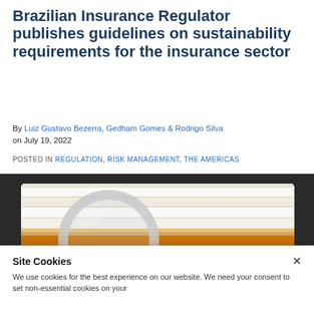Brazilian Insurance Regulator publishes guidelines on sustainability requirements for the insurance sector
By Luiz Gustavo Bezerra, Gedham Gomes & Rodrigo Silva on July 19, 2022
POSTED IN REGULATION, RISK MANAGEMENT, THE AMERICAS
[Figure (photo): A magnifying glass resting against a large stack of documents/files on a dark background]
Site Cookies
We use cookies for the best experience on our website. We need your consent to set non-essential cookies on your